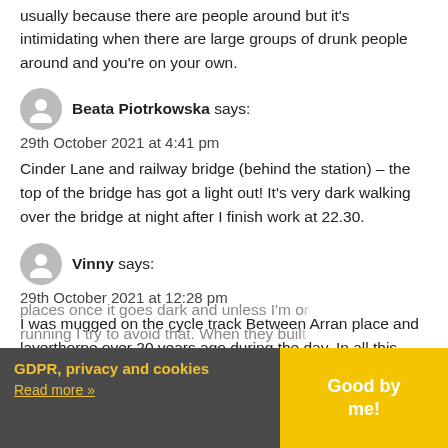usually because there are people around but it's intimidating when there are large groups of drunk people around and you're on your own.
Beata Piotrkowska says: 29th October 2021 at 4:41 pm — Cinder Lane and railway bridge (behind the station) – the top of the bridge has got a light out! It's very dark walking over the bridge at night after I finish work at 22.30.
Vinny says: 29th October 2021 at 12:28 pm — I was mugged on the cycle track Between Arran place and layerthorpe over 20 years ago during the day. In all this time the cycle track does not feel my safer. It's poorly lit in places once it goes dark and unless I'm or running I try to avoid that. When they built thought effort made to improve left but the and more dominates
GDPR, privacy and cookies — Read more »
Good by me!